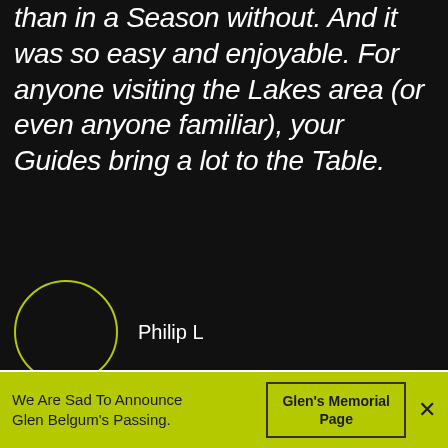than in a Season without. And it was so easy and enjoyable. For anyone visiting the Lakes area (or even anyone familiar), your Guides bring a lot to the Table.
[Figure (illustration): Circular avatar placeholder with yellow-green border, next to the name Philip L]
Philip L
[Figure (illustration): White section with a small green tree/branch icon at the top center]
We Are Sad To Announce Glen Belgum's Passing.
Glen's Memorial Page
×